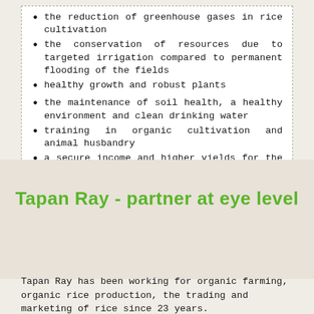the reduction of greenhouse gases in rice cultivation
the conservation of resources due to targeted irrigation compared to permanent flooding of the fields
healthy growth and robust plants
the maintenance of soil health, a healthy environment and clean drinking water
training in organic cultivation and animal husbandry
a secure income and higher yields for the farmers
Tapan Ray - partner at eye level
Tapan Ray has been working for organic farming, organic rice production, the trading and marketing of rice since 23 years.